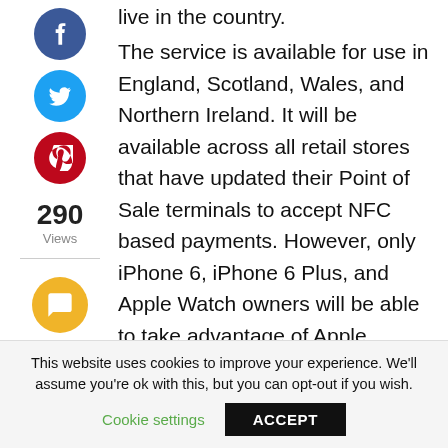live in the country.
[Figure (illustration): Facebook share icon (blue circle with white f), Twitter share icon (cyan circle with white bird), Pinterest share icon (red circle with white p), view count 290 Views, comment icon (yellow circle with white speech bubble)]
The service is available for use in England, Scotland, Wales, and Northern Ireland. It will be available across all retail stores that have updated their Point of Sale terminals to accept NFC based payments. However, only iPhone 6, iPhone 6 Plus, and Apple Watch owners will be able to take advantage of Apple
This website uses cookies to improve your experience. We'll assume you're ok with this, but you can opt-out if you wish.
Cookie settings
ACCEPT